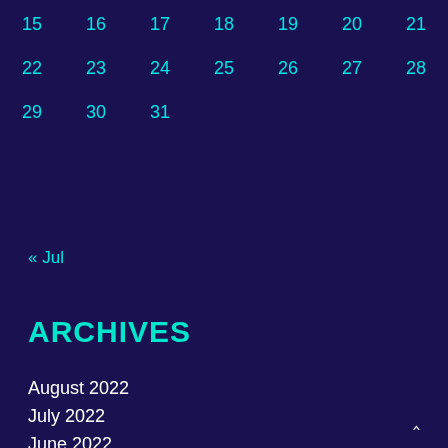| 15 | 16 | 17 | 18 | 19 | 20 | 21 |
| 22 | 23 | 24 | 25 | 26 | 27 | 28 |
| 29 | 30 | 31 |  |  |  |  |
« Jul
ARCHIVES
August 2022
July 2022
June 2022
May 2022
April 2022
March 2022